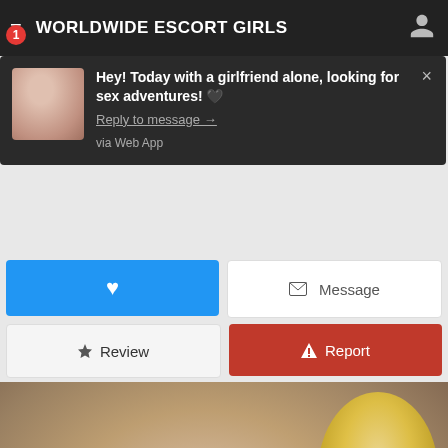WORLDWIDE ESCORT GIRLS
Hey! Today with a girlfriend alone, looking for sex adventures! 🖤
Reply to message →
via Web App
♥
✉ Message
✦ Review
⚠ Report
[Figure (photo): Blonde woman portrait photo used as profile background with name overlay text]
Petruska (33), Italy, escort girl
Tell that you are calling from euroescort18.one to increase your
chances of getting a discount
📞 Call